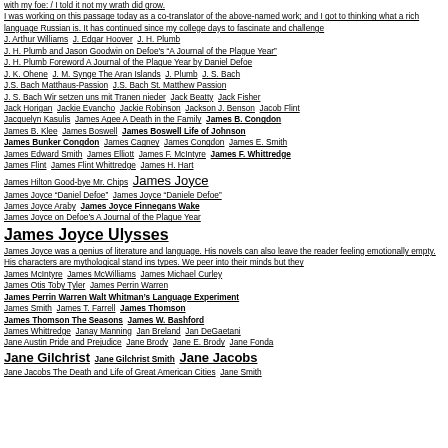with my foe: / I told it not my wrath did grow.
I was working on this passage today as a co-translator of the above-named work; and I got to thinking what a rich language Russian is. It has continued since my college days to fascinate and challenge
J. Arthur Williams  J. Edgar Hoover  J. H. Plumb
J. H. Plumb and Jason Goodwin on Defoe's "A Journal of the Plague Year"
J. H. Plumb Foreword A Journal of the Plague Year by Daniel Defoe
J. K. Ohene  J. M. Synge The Aran Islands  J. Plumb  J. S. Bach
J.S. Bach Matthaus-Passion  J.S. Bach St. Matthew Passion
J. S. Bach Wir setzen uns mit Tranen nieder  Jack Beatty  Jack Fisher
Jack Horigan  Jackie Evancho  Jackie Robinson  Jackson J. Benson  Jacob Flint
Jacquelyn Kasulis  James Agee A Death in the Family  James B. Congdon
James B. Klee  James Boswell  James Boswell Life of Johnson
James Bunker Congdon  James Cagney  James Congdon  James E. Smith
James Edward Smith  James Elliott  James F. McIntyre  James F. Whittredge
James Flint  James Flint Whittredge  James H. Hart
James Hilton Good-bye Mr. Chips  James Joyce
James Joyce "Daniel Defoe"  James Joyce "Daniele Defoe"
James Joyce Araby  James Joyce Finnegans Wake
James Joyce on Defoe's A Journal of the Plague Year
James Joyce Ulysses
James Joyce was a genius of literature and language. His novels can also leave the reader feeling emotionally empty. His characters are mythological stand ins types. We peer into their minds but they
James McIntyre  James McWilliams  James Michael Curley
James Otis Toby Tyler  James Perrin Warren
James Perrin Warren Walt Whitman's Language Experiment
James Smith  James T. Farrell  James Thomson
James Thomson The Seasons  James W. Bashford
James Whittredge  Janay Manning  Jan Breland  Jan DeGaetani
Jane Austin Pride and Prejudice  Jane Brody  Jane E. Brody  Jane Fonda
Jane Gilchrist  Jane Gilchrist Smith  Jane Jacobs
Jane Jacobs The Death and Life of Great American Cities  Jane Smith